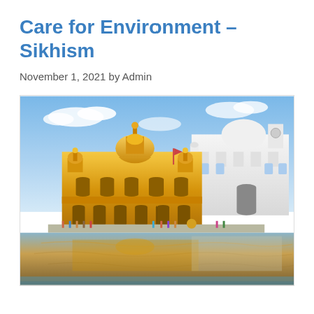Care for Environment – Sikhism
November 1, 2021 by Admin
[Figure (photo): Photograph of the Golden Temple (Harmandir Sahib) in Amritsar, India. The golden domed Sikh temple is reflected in the surrounding sacred pool (sarovar). A white marble building with a clock tower is visible to the right. Pilgrims and visitors can be seen along the walkway. Blue sky with clouds above.]